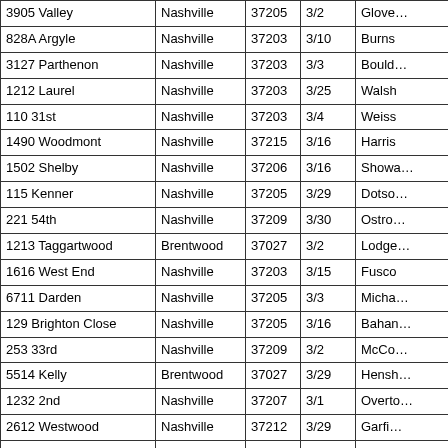| Address | City | ZIP | Date | Agent |
| --- | --- | --- | --- | --- |
| 3905 Valley | Nashville | 37205 | 3/2 | Glove… |
| 828A Argyle | Nashville | 37203 | 3/10 | Burns |
| 3127 Parthenon | Nashville | 37203 | 3/3 | Bould… |
| 1212 Laurel | Nashville | 37203 | 3/25 | Walsh |
| 110 31st | Nashville | 37203 | 3/4 | Weiss |
| 1490 Woodmont | Nashville | 37215 | 3/16 | Harris |
| 1502 Shelby | Nashville | 37206 | 3/16 | Showa… |
| 115 Kenner | Nashville | 37205 | 3/29 | Dotso… |
| 221 54th | Nashville | 37209 | 3/30 | Ostro… |
| 1213 Taggartwood | Brentwood | 37027 | 3/2 | Lodge… |
| 1616 West End | Nashville | 37203 | 3/15 | Fusco |
| 6711 Darden | Nashville | 37205 | 3/3 | Micha… |
| 129 Brighton Close | Nashville | 37205 | 3/16 | Bahan… |
| 253 33rd | Nashville | 37209 | 3/2 | McCo… |
| 5514 Kelly | Brentwood | 37027 | 3/29 | Hensh… |
| 1232 2nd | Nashville | 37207 | 3/1 | Overto… |
| 2612 Westwood | Nashville | 37212 | 3/29 | Garfi… |
| 2815 Kirkwood | Nashville | 37204 | 3/2 | Epstei… |
| 222 Marcia | Nashville | 37209 | 3/28 | Taylor LLC |
|  |  |  |  |  |